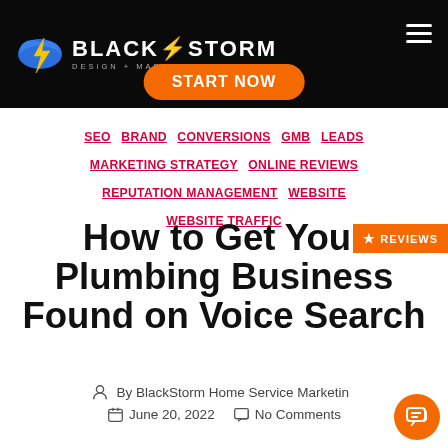[Figure (logo): BlackStorm Design + Marketing logo with lightning bolt cloud icon on dark header bar with START NOW orange button and hamburger menu]
SEO  BRAND  CONVERSIONS  GMB  LEADS  MARKETING STRATEGY  ONLINE REVIEWS  REPUTATION MANAGEMENT  WEBSITE  WEBSITE TRAFFIC
How to Get Your Plumbing Business Found on Voice Search
By BlackStorm Home Service Marketing
June 20, 2022   No Comments